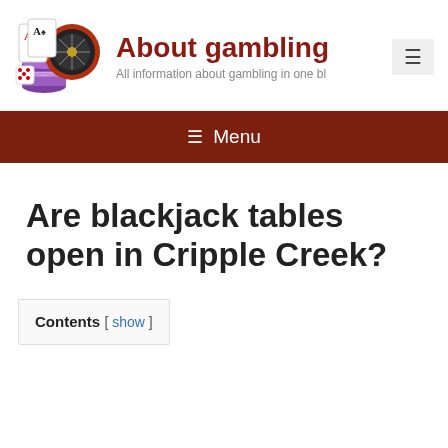About gambling — All information about gambling in one bl...
[Figure (illustration): Casino-themed logo image showing playing cards (aces), a roulette wheel, dice, and poker chips]
About gambling
All information about gambling in one b...
☰ Menu
Are blackjack tables open in Cripple Creek?
Contents [ show ]